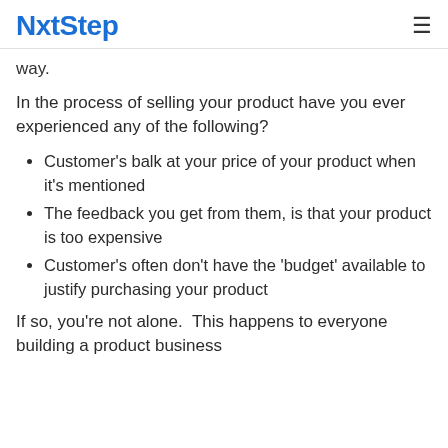NxtStep
way.
In the process of selling your product have you ever experienced any of the following?
Customer's balk at your price of your product when it's mentioned
The feedback you get from them, is that your product is too expensive
Customer's often don't have the 'budget' available to justify purchasing your product
If so, you're not alone.  This happens to everyone building a product business